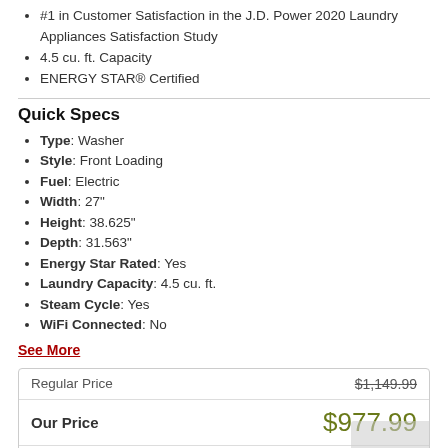#1 in Customer Satisfaction in the J.D. Power 2020 Laundry Appliances Satisfaction Study
4.5 cu. ft. Capacity
ENERGY STAR® Certified
Quick Specs
Type: Washer
Style: Front Loading
Fuel: Electric
Width: 27"
Height: 38.625"
Depth: 31.563"
Energy Star Rated: Yes
Laundry Capacity: 4.5 cu. ft.
Steam Cycle: Yes
WiFi Connected: No
See More
|  |  |
| --- | --- |
| Regular Price | $1,149.99 |
| Our Price | $977.99 |
| You Save | $172 |